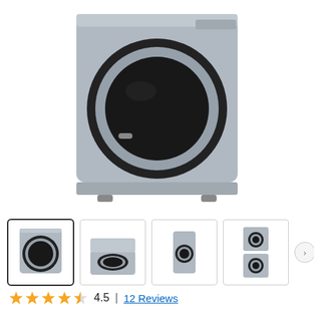[Figure (photo): Front-load gas dryer in platinum/silver color, front view showing circular drum door with black ring, product sits on small feet. Partial top-of-appliance view.]
[Figure (photo): Four thumbnail images of the dryer product: (1) front view selected, (2) top-down/angled view, (3) side profile view, (4) stacked pair view]
4.5  |  12 Reviews
7.5 cu. ft. Gas Dryer with Steam Sanitize+ in Platinum